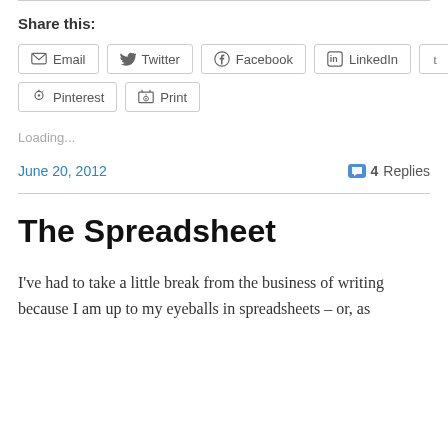Share this:
Email  Twitter  Facebook  LinkedIn  Tumblr  Pinterest  Print
Loading...
June 20, 2012
4 Replies
The Spreadsheet
I've had to take a little break from the business of writing because I am up to my eyeballs in spreadsheets – or, as